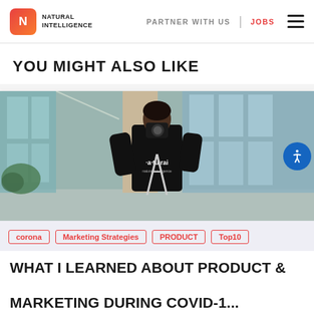Natural Intelligence — PARTNER WITH US | JOBS
YOU MIGHT ALSO LIKE
[Figure (photo): Person wearing a black hoodie with 'na·tu·ral' text on the back, holding a camera on a tripod in a modern office building with glass walls.]
corona
Marketing Strategies
PRODUCT
Top10
WHAT I LEARNED ABOUT PRODUCT & MARKETING DURING COVID-1...